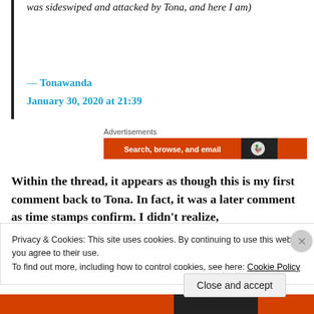was sideswiped and attacked by Tona, and here I am)
— Tonawanda
January 30, 2020 at 21:39
[Figure (other): Advertisement banner: orange and black bar with text 'Search, browse, and email' and DuckDuckGo logo]
Within the thread, it appears as though this is my first comment back to Tona. In fact, it was a later comment as time stamps confirm. I didn't realize,
Privacy & Cookies: This site uses cookies. By continuing to use this website, you agree to their use. To find out more, including how to control cookies, see here: Cookie Policy
Close and accept